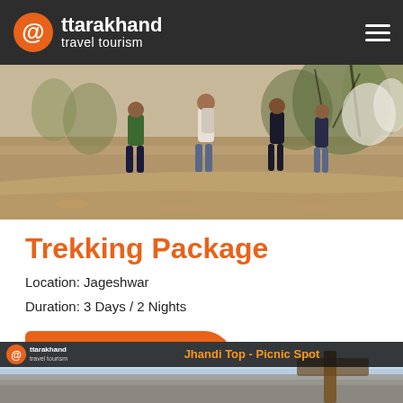Uttarakhand travel tourism
[Figure (photo): Group of trekkers hiking up a dry hillside trail through sparse trees and scrubland]
Trekking Package
Location: Jageshwar
Duration: 3 Days / 2 Nights
PACKAGE DETAILS
[Figure (photo): Jhandi Top - Picnic Spot scenic view with Uttarakhand travel tourism branding overlay, blue sky and rocky landscape]